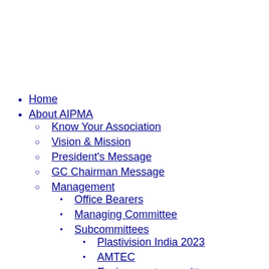Home
About AIPMA
Know Your Association
Vision & Mission
President's Message
GC Chairman Message
Management
Office Bearers
Managing Committee
Subcommittees
Plastivision India 2023
AMTEC
Environment committee
Job Fair committee
Membership committee
Other Subcommittees
AIPMA Secretariat
Past Presidents
Our Partners
Affiliate Associations
Associated partners